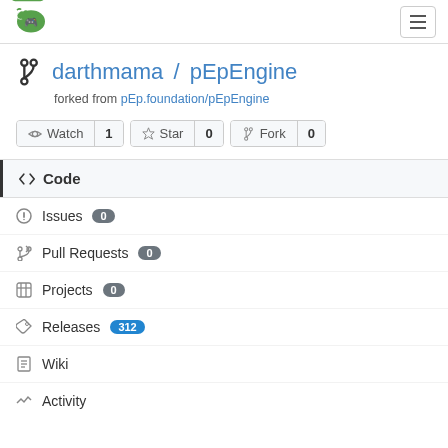Gitea logo | hamburger menu
darthmama / pEpEngine
forked from pEp.foundation/pEpEngine
Watch 1  Star 0  Fork 0
Code
Issues 0
Pull Requests 0
Projects 0
Releases 312
Wiki
Activity